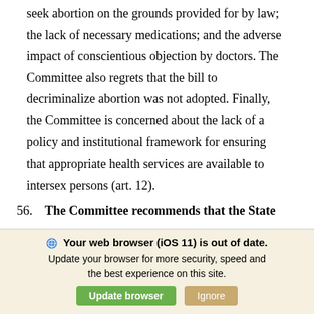seek abortion on the grounds provided for by law; the lack of necessary medications; and the adverse impact of conscientious objection by doctors. The Committee also regrets that the bill to decriminalize abortion was not adopted. Finally, the Committee is concerned about the lack of a policy and institutional framework for ensuring that appropriate health services are available to intersex persons (art. 12).
56. The Committee recommends that the State party:
[Figure (screenshot): Browser update banner: 'Your web browser (iOS 11) is out of date. Update your browser for more security, speed and the best experience on this site.' with 'Update browser' (green) and 'Ignore' (tan) buttons.]